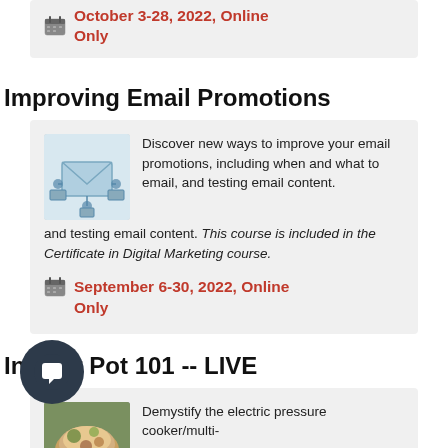October 3-28, 2022, Online Only
Improving Email Promotions
[Figure (illustration): Illustration of email/envelope with network connections and devices]
Discover new ways to improve your email promotions, including when and what to email, and testing email content. This course is included in the Certificate in Digital Marketing course.
September 6-30, 2022, Online Only
Instant Pot 101 -- LIVE
[Figure (photo): Photo of food/dish, likely cooked in an Instant Pot]
Demystify the electric pressure cooker/multi-